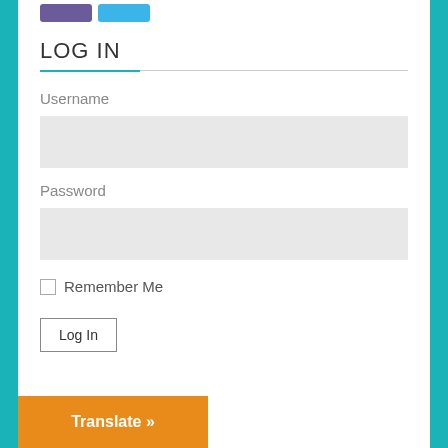LOG IN
Username
Password
Remember Me
Log In
Translate »